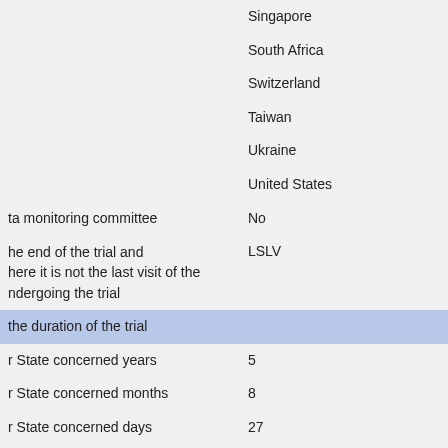| Field | Value |
| --- | --- |
|  | Singapore |
|  | South Africa |
|  | Switzerland |
|  | Taiwan |
|  | Ukraine |
|  | United States |
| ta monitoring committee | No |
| he end of the trial and here it is not the last visit of the ndergoing the trial | LSLV |
| the duration of the trial |  |
| r State concerned years | 5 |
| r State concerned months | 8 |
| r State concerned days | 27 |
| s concerned by the trial years | 5 |
| s concerned by the trial | 8 |
| s concerned by the trial days | 27 |